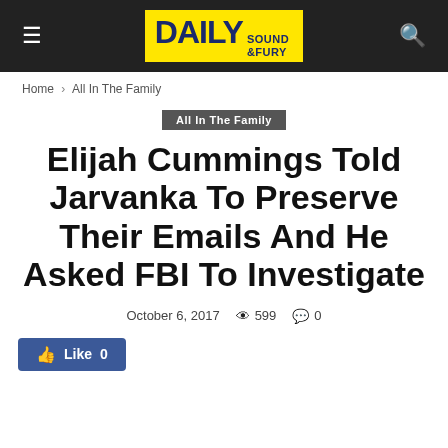Daily Sound & Fury
Home › All In The Family
All In The Family
Elijah Cummings Told Jarvanka To Preserve Their Emails And He Asked FBI To Investigate
October 6, 2017   599   0
Like 0